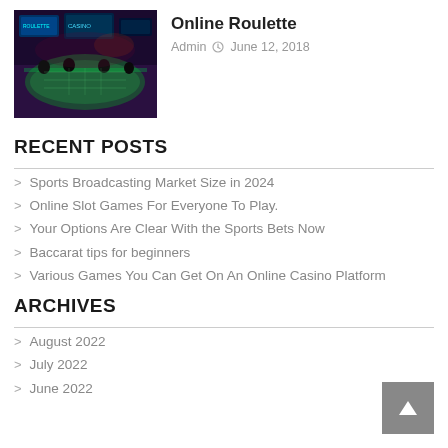[Figure (photo): Casino interior with colorful illuminated gaming tables and screens in the background]
Online Roulette
Admin  June 12, 2018
RECENT POSTS
Sports Broadcasting Market Size in 2024
Online Slot Games For Everyone To Play.
Your Options Are Clear With the Sports Bets Now
Baccarat tips for beginners
Various Games You Can Get On An Online Casino Platform
ARCHIVES
August 2022
July 2022
June 2022